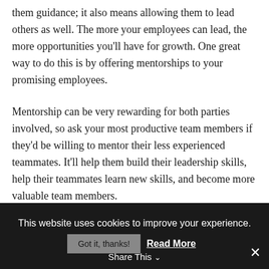them guidance; it also means allowing them to lead others as well. The more your employees can lead, the more opportunities you'll have for growth. One great way to do this is by offering mentorships to your promising employees.
Mentorship can be very rewarding for both parties involved, so ask your most productive team members if they'd be willing to mentor their less experienced teammates. It'll help them build their leadership skills, help their teammates learn new skills, and become more valuable team members.
3. Let Employees Make
This website uses cookies to improve your experience.
Got it, thanks!  Read More
Share This